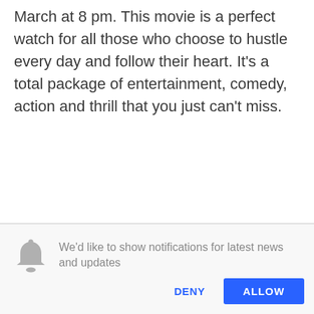March at 8 pm. This movie is a perfect watch for all those who choose to hustle every day and follow their heart. It's a total package of entertainment, comedy, action and thrill that you just can't miss.
We'd like to show notifications for latest news and updates
DENY
ALLOW